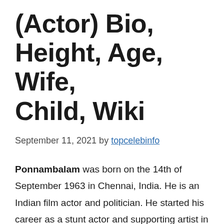(Actor) Bio, Height, Age, Wife, Child, Wiki
September 11, 2021 by topcelebinfo
Ponnambalam was born on the 14th of September 1963 in Chennai, India. He is an Indian film actor and politician. He started his career as a stunt actor and supporting artist in South Indian films. Poonampalam also works in Malayalam, Kannada and Bollywood films. Poonampalam is best known